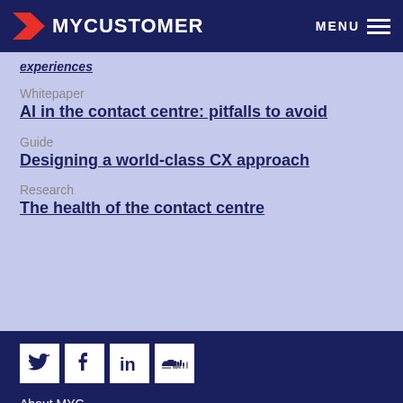MYCUSTOMER  MENU
experiences
Whitepaper
AI in the contact centre: pitfalls to avoid
Guide
Designing a world-class CX approach
Research
The health of the contact centre
About MYC  About SIFT